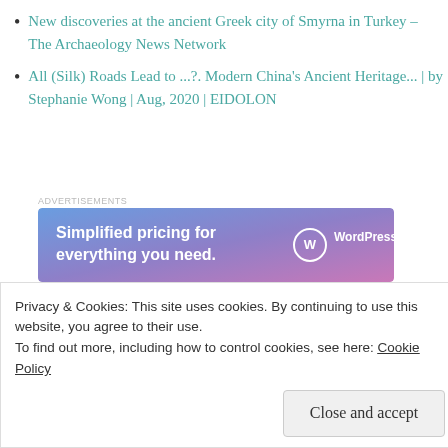New discoveries at the ancient Greek city of Smyrna in Turkey – The Archaeology News Network
All (Silk) Roads Lead to ...?. Modern China's Ancient Heritage... | by Stephanie Wong | Aug, 2020 | EIDOLON
[Figure (other): WordPress.com advertisement banner — 'Simplified pricing for everything you need.' with WordPress.com logo on blue-purple gradient background]
Fresh Podcasts
Privacy & Cookies: This site uses cookies. By continuing to use this website, you agree to their use.
To find out more, including how to control cookies, see here: Cookie Policy
Close and accept